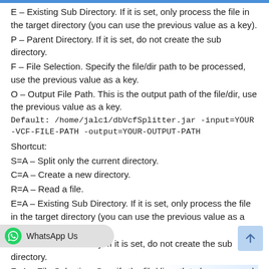E – Existing Sub Directory. If it is set, only process the file in the target directory (you can use the previous value as a key).
P – Parent Directory. If it is set, do not create the sub directory.
F – File Selection. Specify the file/dir path to be processed, use the previous value as a key.
O – Output File Path. This is the output path of the file/dir, use the previous value as a key.
Default: /home/jalc1/dbVcfSplitter.jar -input=YOUR-VCF-FILE-PATH -output=YOUR-OUTPUT-PATH
Shortcut:
S=A – Split only the current directory.
C=A – Create a new directory.
R=A – Read a file.
E=A – Existing Sub Directory. If it is set, only process the file in the target directory (you can use the previous value as a key).
P=A – Parent Directory. If it is set, do not create the sub directory.
F=A – File Selection. Specify the file/dir path to be processed, use the previous value as a key.
O=A – Output File Path. This is the output path of the file/dir, use